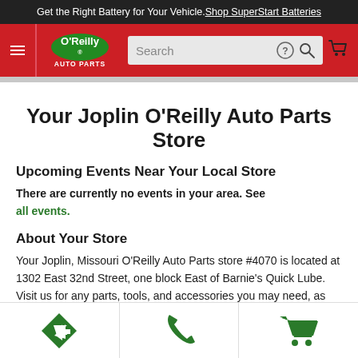Get the Right Battery for Your Vehicle. Shop SuperStart Batteries
[Figure (logo): O'Reilly Auto Parts logo with navigation bar including hamburger menu, search box, help icon, search icon, and cart icon]
Your Joplin O'Reilly Auto Parts Store
Upcoming Events Near Your Local Store
There are currently no events in your area. See all events.
About Your Store
Your Joplin, Missouri O'Reilly Auto Parts store #4070 is located at 1302 East 32nd Street, one block East of Barnie's Quick Lube. Visit us for any parts, tools, and accessories you may need, as well as
[Figure (infographic): Bottom navigation bar with three green icons: directions arrow, phone, and shopping cart]